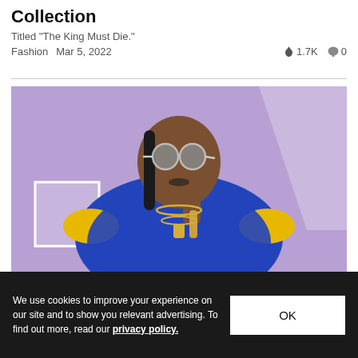Collection
Titled "The King Must Die."
Fashion  Mar 5, 2022  🔥 1.7K  💬 0
[Figure (photo): A man wearing round sunglasses, a blue and gold paisley patterned shirt, holding a gold microphone, with multiple gold chains, against a purple background.]
We use cookies to improve your experience on our site and to show you relevant advertising. To find out more, read our privacy policy.